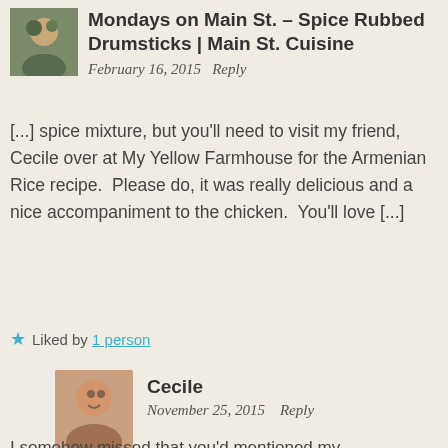Mondays on Main St. – Spice Rubbed Drumsticks | Main St. Cuisine
February 16, 2015 Reply
[...] spice mixture, but you'll need to visit my friend, Cecile over at My Yellow Farmhouse for the Armenian Rice recipe.  Please do, it was really delicious and a nice accompaniment to the chicken.  You'll love [...]
Liked by 1 person
Cecile
November 25, 2015   Reply
I somehow missed that you'd mentioned my...